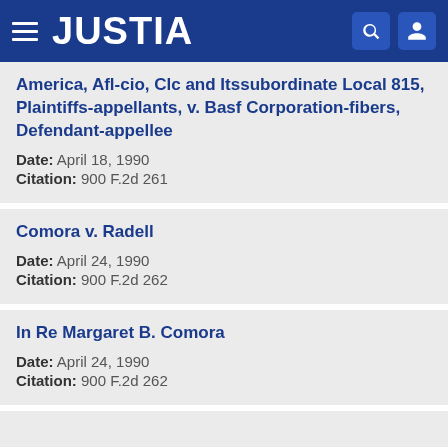JUSTIA
America, Afl-cio, Clc and Itssubordinate Local 815, Plaintiffs-appellants, v. Basf Corporation-fibers, Defendant-appellee
Date: April 18, 1990
Citation: 900 F.2d 261
Comora v. Radell
Date: April 24, 1990
Citation: 900 F.2d 262
In Re Margaret B. Comora
Date: April 24, 1990
Citation: 900 F.2d 262